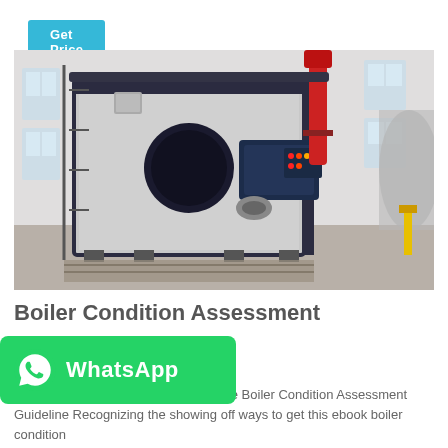Get Price
[Figure (photo): Industrial boiler equipment in a factory setting. Large white rectangular boiler unit with dark metal frame, burner assembly attached to the front, red cylindrical exhaust stack, and control panel with indicator lights. Viewed from front-right angle inside a spacious industrial building.]
Boiler Condition Assessment
[Figure (screenshot): WhatsApp contact button — green rounded rectangle with white WhatsApp phone icon on left and bold white 'WhatsApp' text on right]
Boiler Condition Assessment Guideline Boiler Condition Assessment Guideline Recognizing the showing off ways to get this ebook boiler condition